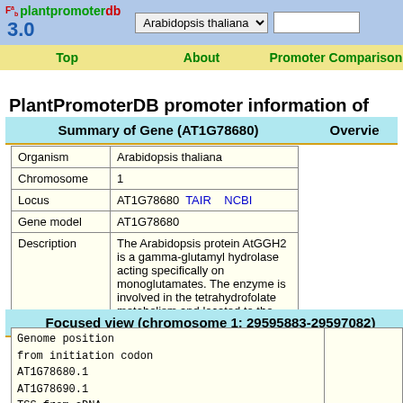plantpromoterdb 3.0 | Arabidopsis thaliana | Top | About | Promoter Comparison
PlantPromoterDB promoter information of AT1G78680
Summary of Gene (AT1G78680)
| Field | Value |
| --- | --- |
| Organism | Arabidopsis thaliana |
| Chromosome | 1 |
| Locus | AT1G78680  TAIR  NCBI |
| Gene model | AT1G78680 |
| Description | The Arabidopsis protein AtGGH2 is a gamma-glutamyl hydrolase acting specifically on monoglutamates. The enzyme is involved in the tetrahydrofolate metabolism and located to the vacuole. |
Focused view (chromosome 1: 29595883-29597082)
Genome position
from initiation codon
AT1G78680.1
AT1G78690.1
TSS from cDNA
TSS information
AT1G78680	5'->3' (+)
Promoter sequence